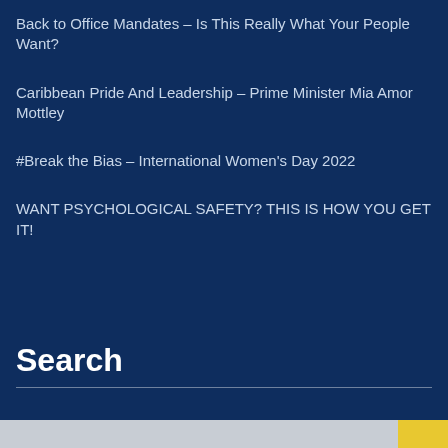Back to Office Mandates – Is This Really What Your People Want?
Caribbean Pride And Leadership – Prime Minister Mia Amor Mottley
#Break the Bias – International Women's Day 2022
WANT PSYCHOLOGICAL SAFETY? THIS IS HOW YOU GET IT!
Search